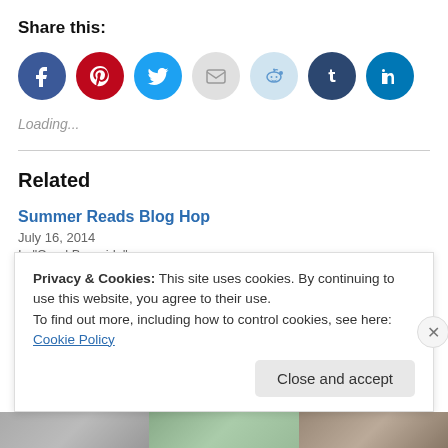Share this:
[Figure (other): Row of social media share icon buttons: Facebook (blue), Pinterest (red), Twitter (cyan), Email (gray), Reddit (light blue), Tumblr (dark navy), LinkedIn (teal)]
Loading...
Related
Summer Reads Blog Hop
July 16, 2014
In "Carol Burnside"
Privacy & Cookies: This site uses cookies. By continuing to use this website, you agree to their use.
To find out more, including how to control cookies, see here: Cookie Policy
Close and accept